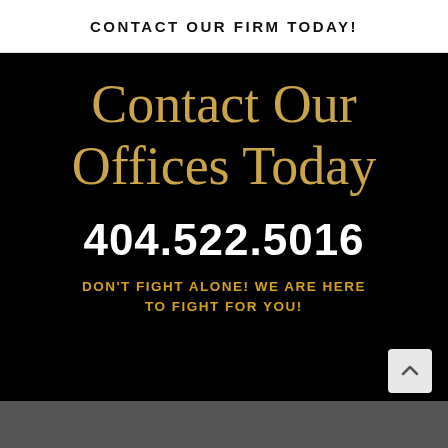CONTACT OUR FIRM TODAY!
Contact Our Offices Today
404.522.5016
DON'T FIGHT ALONE! WE ARE HERE TO FIGHT FOR YOU!